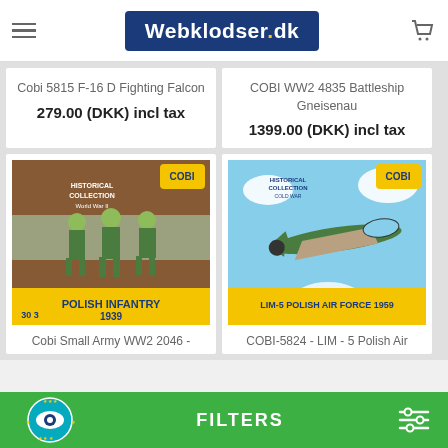Webklodser.dk
Cobi 5815 F-16 D Fighting Falcon
279.00 (DKK) incl tax
COBI WW2 4835 Battleship Gneisenau
1399.00 (DKK) incl tax
[Figure (photo): COBI Historical Collection World War II Polish Infantry 1939 box set with 3 soldier figures, 30 pieces]
Cobi Small Army WW2 2046 -
[Figure (photo): COBI Historical Collection World War II LIM-5 Polish Air Force 1959 airplane model box]
COBI-5824 - LIM - 5 Polish Air
FILTERS